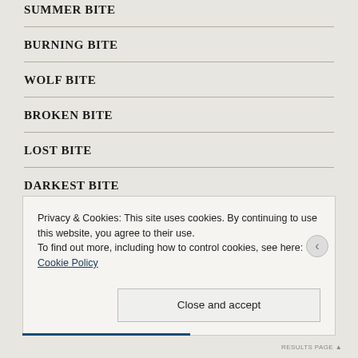SUMMER BITE
BURNING BITE
WOLF BITE
BROKEN BITE
LOST BITE
DARKEST BITE
SHADOW BITE
DEATHLESS BITE
ROSE BITE
Privacy & Cookies: This site uses cookies. By continuing to use this website, you agree to their use.
To find out more, including how to control cookies, see here: Cookie Policy
Close and accept